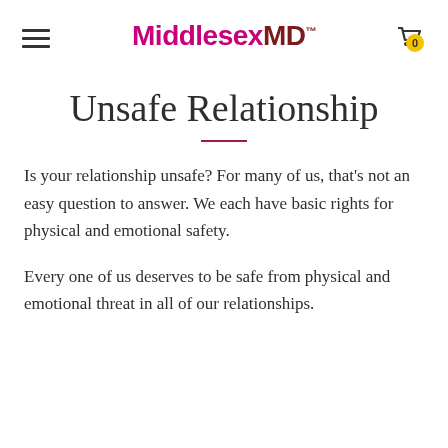MiddlesexMD™
Unsafe Relationship
Is your relationship unsafe? For many of us, that's not an easy question to answer. We each have basic rights for physical and emotional safety.
Every one of us deserves to be safe from physical and emotional threat in all of our relationships.